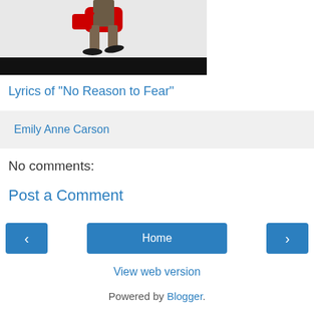[Figure (screenshot): Partial image showing a person in brown trousers and dark shoes carrying a red YouTube-branded bag, with a black bar at the bottom of the image]
Lyrics of "No Reason to Fear"
Emily Anne Carson
No comments:
Post a Comment
Home
View web version
Powered by Blogger.